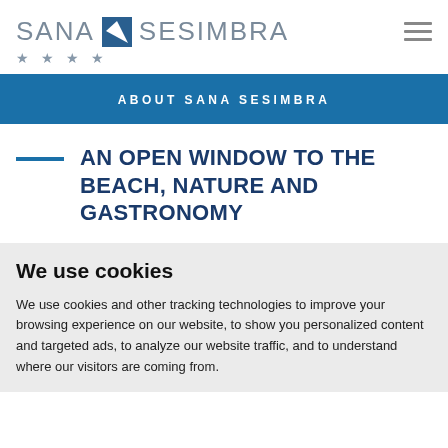SANA SESIMBRA ★★★★
ABOUT SANA SESIMBRA
AN OPEN WINDOW TO THE BEACH, NATURE AND GASTRONOMY
We use cookies
We use cookies and other tracking technologies to improve your browsing experience on our website, to show you personalized content and targeted ads, to analyze our website traffic, and to understand where our visitors are coming from.